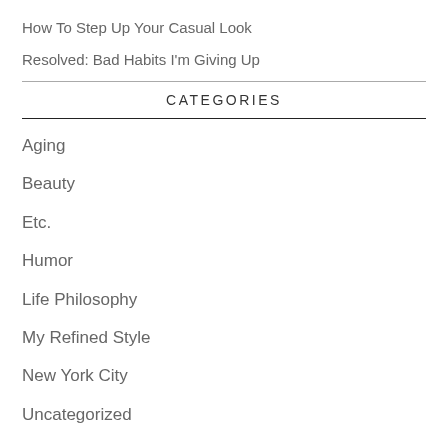How To Step Up Your Casual Look
Resolved: Bad Habits I'm Giving Up
CATEGORIES
Aging
Beauty
Etc.
Humor
Life Philosophy
My Refined Style
New York City
Uncategorized